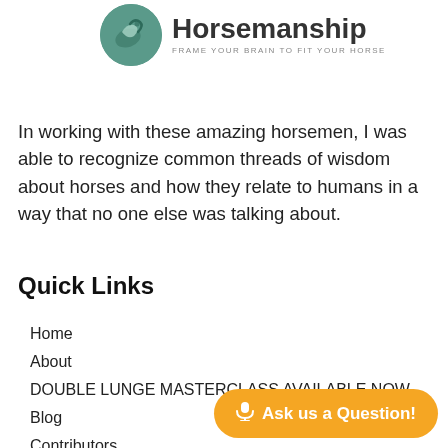[Figure (logo): Circular green logo with hand/horse silhouette, beside bold text 'Horsemanship' and subtitle 'FRAME YOUR BRAIN TO FIT YOUR HORSE']
In working with these amazing horsemen, I was able to recognize common threads of wisdom about horses and how they relate to humans in a way that no one else was talking about.
Quick Links
Home
About
DOUBLE LUNGE MASTERCLASS AVAILABLE NOW
Blog
Contributors
Contact